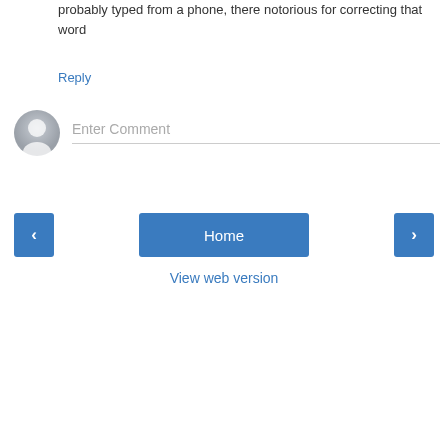probably typed from a phone, there notorious for correcting that word
Reply
[Figure (illustration): User avatar icon — grey silhouette person placeholder]
Enter Comment
‹  Home  ›
View web version